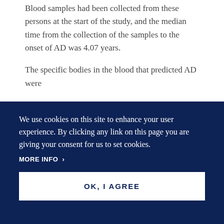Blood samples had been collected from these persons at the start of the study, and the median time from the collection of the samples to the onset of AD was 4.07 years.
The specific bodies in the blood that predicted AD were
extracellular particles, shed by all cells.        The finding was that the diameters of the phosphorylated tau and phosphorylated insulin receptor substrate particles were significantly higher in the preclinical samples of
We use cookies on this site to enhance your user experience. By clicking any link on this page you are giving your consent for us to set cookies.
MORE INFO ›
OK, I AGREE